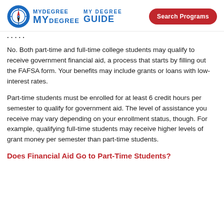My Degree Guide — Search Programs
...
No. Both part-time and full-time college students may qualify to receive government financial aid, a process that starts by filling out the FAFSA form. Your benefits may include grants or loans with low-interest rates.
Part-time students must be enrolled for at least 6 credit hours per semester to qualify for government aid. The level of assistance you receive may vary depending on your enrollment status, though. For example, qualifying full-time students may receive higher levels of grant money per semester than part-time students.
Does Financial Aid Go to Part-Time Students?